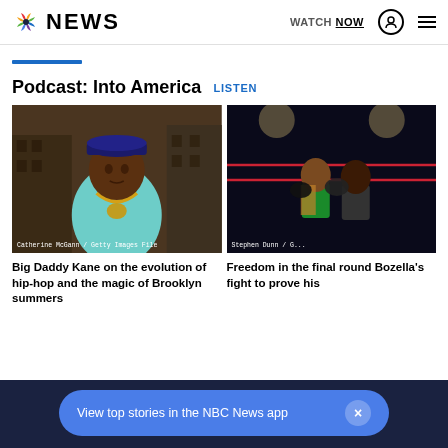NBC NEWS | WATCH NOW
Podcast: Into America  LISTEN
[Figure (photo): Photo of Big Daddy Kane, a hip-hop artist, wearing a gold chain necklace, with city buildings in the background. Credit: Catherine McGann / Getty Images File]
[Figure (photo): Photo of two boxers, one shirtless in green trunks, in a boxing ring. Credit: Stephen Dunn / G...]
Big Daddy Kane on the evolution of hip-hop and the magic of Brooklyn summers
Freedom in the final round Bozella's fight to prove his
View top stories in the NBC News app